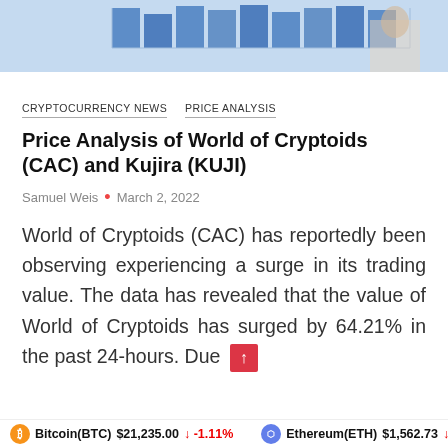[Figure (screenshot): Top banner image showing a cryptocurrency/trading interface with blue chart bars and a person in background]
CRYPTOCURRENCY NEWS   PRICE ANALYSIS
Price Analysis of World of Cryptoids (CAC) and Kujira (KUJI)
Samuel Weis • March 2, 2022
World of Cryptoids (CAC) has reportedly been observing experiencing a surge in its trading value. The data has revealed that the value of World of Cryptoids has surged by 64.21% in the past 24-hours. Due
Bitcoin(BTC) $21,235.00 ↓ -1.11%   Ethereum(ETH) $1,562.73